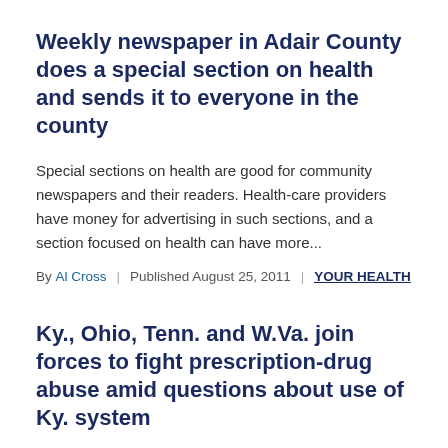Weekly newspaper in Adair County does a special section on health and sends it to everyone in the county
Special sections on health are good for community newspapers and their readers. Health-care providers have money for advertising in such sections, and a section focused on health can have more...
By Al Cross | Published August 25, 2011 | YOUR HEALTH
Ky., Ohio, Tenn. and W.Va. join forces to fight prescription-drug abuse amid questions about use of Ky. system
Kentucky has formed a partnership with Ohio, Tennessee and West Virginia to help fight prescription drug abuse, "even as